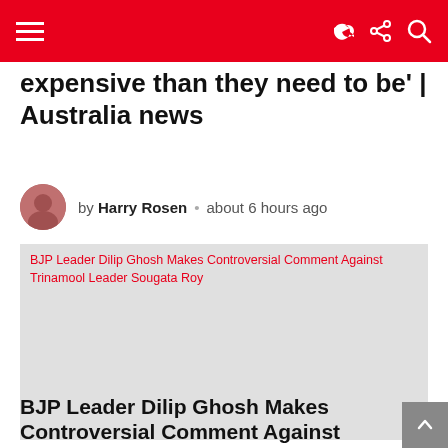Navigation bar with hamburger menu, share icon, and search icon
expensive than they need to be' | Australia news
by Harry Rosen • about 6 hours ago
[Figure (photo): BJP Leader Dilip Ghosh Makes Controversial Comment Against Trinamool Leader Sougata Roy — broken/loading image placeholder]
0 Shares
BJP Leader Dilip Ghosh Makes Controversial Comment Against Trinamool Leader Sougata